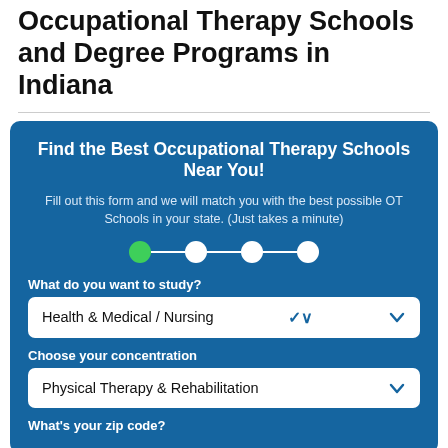Occupational Therapy Schools and Degree Programs in Indiana
[Figure (infographic): Blue panel: Find the Best Occupational Therapy Schools Near You! with a step progress indicator and form fields for study area, concentration, and zip code.]
Find the Best Occupational Therapy Schools Near You!
Fill out this form and we will match you with the best possible OT Schools in your state. (Just takes a minute)
What do you want to study?
Health & Medical / Nursing
Choose your concentration
Physical Therapy & Rehabilitation
What's your zip code?